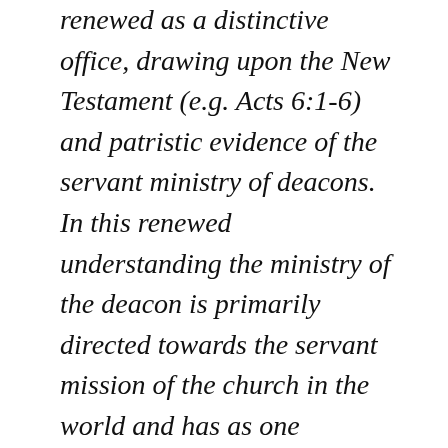renewed as a distinctive office, drawing upon the New Testament (e.g. Acts 6:1-6) and patristic evidence of the servant ministry of deacons.  In this renewed understanding the ministry of the deacon is primarily directed towards the servant mission of the church in the world and has as one